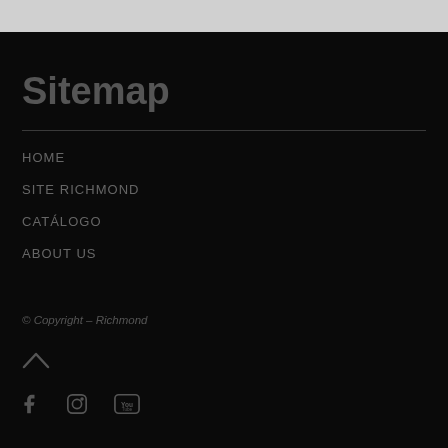Sitemap
HOME
SITE RICHMOND
CATÁLOGO
ABOUT US
© Copyright – Richmond
[Figure (illustration): Upward caret / chevron arrow icon for back-to-top navigation]
[Figure (illustration): Social media icons: Facebook, Instagram, YouTube]